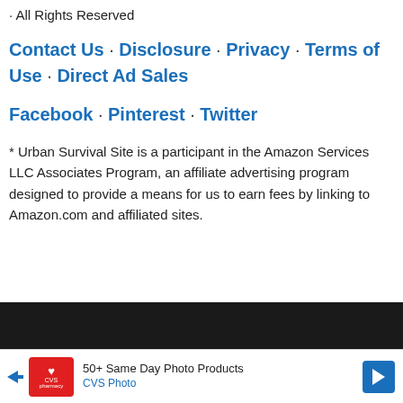· All Rights Reserved
Contact Us · Disclosure · Privacy · Terms of Use · Direct Ad Sales
Facebook · Pinterest · Twitter
* Urban Survival Site is a participant in the Amazon Services LLC Associates Program, an affiliate advertising program designed to provide a means for us to earn fees by linking to Amazon.com and affiliated sites.
[Figure (infographic): Dark bar separator at bottom of page]
[Figure (infographic): CVS Pharmacy advertisement banner: '50+ Same Day Photo Products / CVS Photo' with CVS logo and navigation arrows]